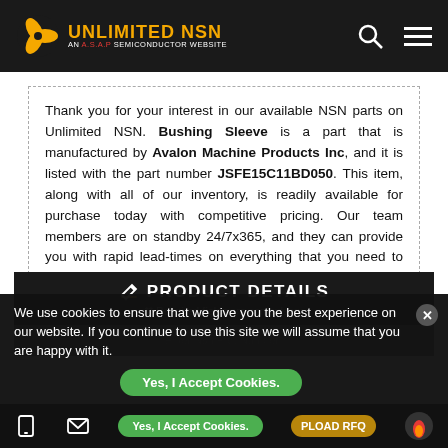UNLIMITED NSN – AN A.S.A.P SEMICONDUCTOR WEBSITE
Thank you for your interest in our available NSN parts on Unlimited NSN. Bushing Sleeve is a part that is manufactured by Avalon Machine Products Inc, and it is listed with the part number JSFE15C11BD050. This item, along with all of our inventory, is readily available for purchase today with competitive pricing. Our team members are on standby 24/7x365, and they can provide you with rapid lead-times on everything that you need to successfully carry out your operations.
PRODUCT DETAILS
** Required fields are compulsory
We use cookies to ensure that we give you the best experience on our website. If you continue to use this site we will assume that you are happy with it.
Enter Nsn Part Number*
Yes, I Accept Cookies.